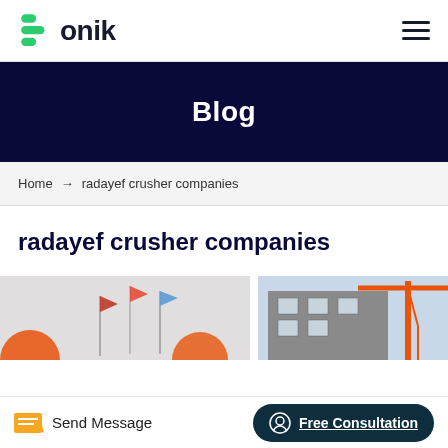Bonik
Blog
Home → radayef crusher companies
radayef crusher companies
[Figure (photo): Two partial photos: left shows flags on poles, right shows an orange crane/industrial equipment against a building]
Send Message  Free Consultation